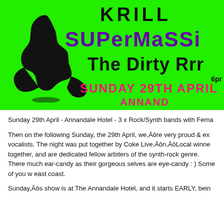[Figure (illustration): Green banner flyer for music event featuring KRILL, SUPerMaSSive, The Dirty Rrr bands on Sunday 29th April at Annandale Hotel with a black silhouette of a woman and text in purple, black and pink on green background]
Sunday 29th April - Annandale Hotel - 3 x Rock/Synth bands with Fema
Then on the following Sunday, the 29th April, we’re very proud & ex vocalists. The night was put together by Coke Live’s “Local winne together, and are dedicated fellow arbiters of the synth-rock genre. There much ear-candy as their gorgeous selves are eye-candy : ) Some of you w east coast.
Sunday’s show is at The Annandale Hotel, and it starts EARLY, bein